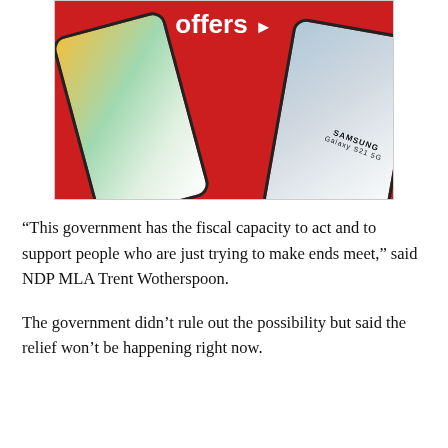[Figure (photo): Advertisement image on a red background showing two Samsung smartphones (Galaxy S21 5G) overlapping diagonally. White bold text reads 'offers' with a right-pointing arrow.]
“This government has the fiscal capacity to act and to support people who are just trying to make ends meet,” said NDP MLA Trent Wotherspoon.
The government didn’t rule out the possibility but said the relief won’t be happening right now.